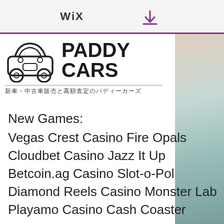WiX
[Figure (logo): Paddy Cars logo with car icon and Japanese subtitle text]
isdt
New Games:
Vegas Crest Casino Fire Opals
Cloudbet Casino Jazz It Up
Betcoin.ag Casino Slot-o-Pol
Diamond Reels Casino Monster Lab
Playamo Casino Cash Coaster
BetChain Casino Alien Hunter
Bitcoin Penguin Casino Bullseye
mBit Casino Football Superstar
22Bet Casino The Power of Ankh
CryptoGames Golden Ticket
CryptoGames Cash Cave
mBTC free bet Wild West
[Figure (photo): Photo of vintage car interior and exterior, showing teal/mint colored car details]